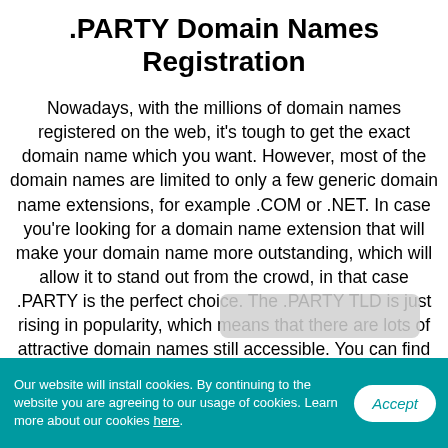.PARTY Domain Names Registration
Nowadays, with the millions of domain names registered on the web, it's tough to get the exact domain name which you want. However, most of the domain names are limited to only a few generic domain name extensions, for example .COM or .NET. In case you're looking for a domain name extension that will make your domain name more outstanding, which will allow it to stand out from the crowd, in that case .PARTY is the perfect choice. The .PARTY TLD is just rising in popularity, which means that there are lots of attractive domain names still accessible. You can find not only a domain name which fits the name of your organization, but also a domain name that suits
Our website will install cookies. By continuing to the website you are agreeing to our usage of cookies. Learn more about our cookies here.